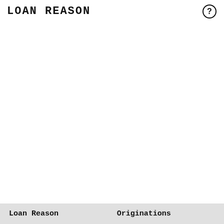LOAN REASON
[Figure (other): Help/info icon circle with question mark]
| Loan Reason | Originations |
| --- | --- |